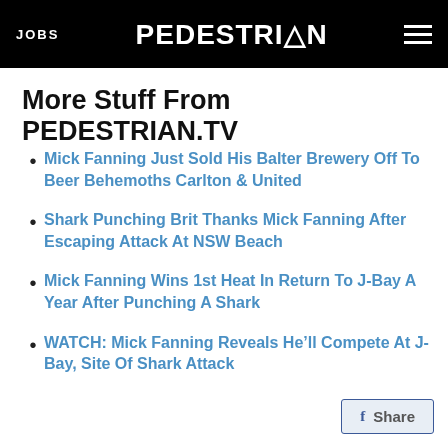JOBS | PEDESTRIAN.TV
More Stuff From PEDESTRIAN.TV
Mick Fanning Just Sold His Balter Brewery Off To Beer Behemoths Carlton & United
Shark Punching Brit Thanks Mick Fanning After Escaping Attack At NSW Beach
Mick Fanning Wins 1st Heat In Return To J-Bay A Year After Punching A Shark
WATCH: Mick Fanning Reveals He'll Compete At J-Bay, Site Of Shark Attack